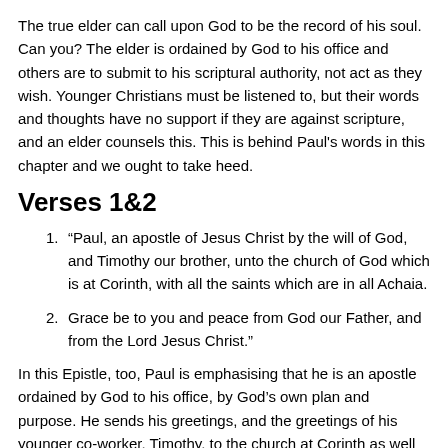The true elder can call upon God to be the record of his soul. Can you? The elder is ordained by God to his office and others are to submit to his scriptural authority, not act as they wish. Younger Christians must be listened to, but their words and thoughts have no support if they are against scripture, and an elder counsels this. This is behind Paul's words in this chapter and we ought to take heed.
Verses 1&2
1. “Paul, an apostle of Jesus Christ by the will of God, and Timothy our brother, unto the church of God which is at Corinth, with all the saints which are in all Achaia.
2. Grace be to you and peace from God our Father, and from the Lord Jesus Christ.”
In this Epistle, too, Paul is emphasising that he is an apostle ordained by God to his office, by God’s own plan and purpose. He sends his greetings, and the greetings of his younger co-worker, Timothy, to the church at Corinth as well as to all the Christians in Achaia (‘trouble’ – comprising Greece, its islands, and Macedonia, a very large area).